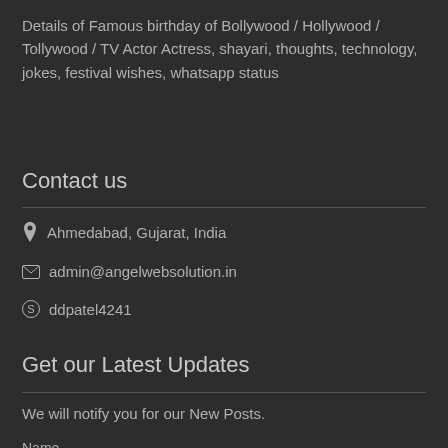Details of Famous birthday of Bollywood / Hollywood / Tollywood / TV Actor Actress, shayari, thoughts, technology, jokes, festival wishes, whatsapp status
Contact us
Ahmedabad, Gujarat, India
admin@angelwebsolution.in
ddpatel4241
Get our Latest Updates
We will notify you for our New Posts.
Name
Email*